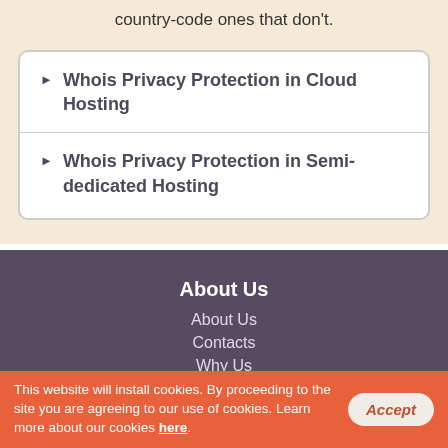country-code ones that don't.
Whois Privacy Protection in Cloud Hosting
Whois Privacy Protection in Semi-dedicated Hosting
About Us
About Us
Contacts
Why Us
Website Migration
Hosting Platform
This website will install cookies. By proceeding to the site you are agreeing to our use of cookies. Learn more about our cookies here.